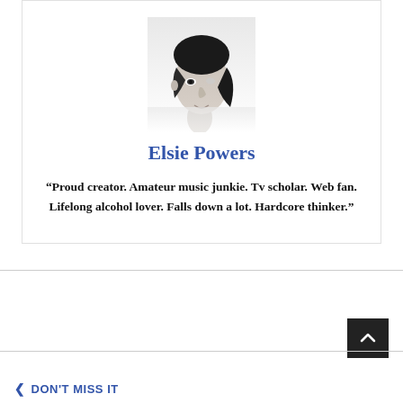[Figure (photo): Black and white portrait photo of a young woman with dark hair, looking slightly downward]
Elsie Powers
“Proud creator. Amateur music junkie. Tv scholar. Web fan. Lifelong alcohol lover. Falls down a lot. Hardcore thinker.”
DON'T MISS IT